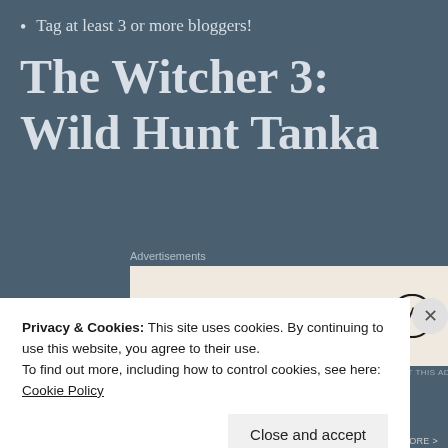Tag at least 3 or more bloggers!
The Witcher 3: Wild Hunt Tanka
Advertisements
[Figure (other): WordPress advertisement: Need a website quickly – and on a budget? with WordPress logo]
REPORT THIS AD
The Witcher protects
Privacy & Cookies: This site uses cookies. By continuing to use this website, you agree to their use.
To find out more, including how to control cookies, see here: Cookie Policy
Close and accept